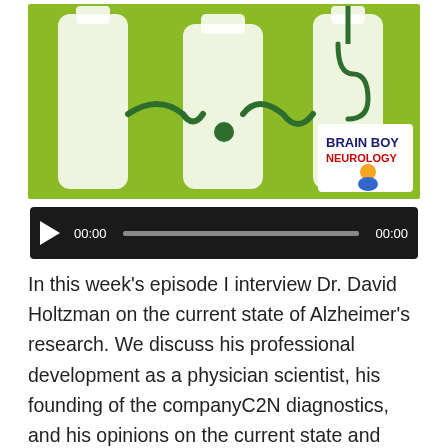[Figure (illustration): Podcast artwork showing stylized green background with white silhouettes of bottles and neurology/medical imagery. Brain Boy Neurology logo visible in bottom-right corner of the image.]
[Figure (screenshot): Audio player control bar with dark background, play button (triangle), timestamp 00:00 on left, progress bar in middle, and 00:00 on right.]
In this week's episode I interview Dr. David Holtzman on the current state of Alzheimer's research. We discuss his professional development as a physician scientist, his founding of the companyC2N diagnostics, and his opinions on the current state and future of Alzheimer's research. Dr. Holzman got his MD from Northwestern University and then completed a neurology residency and post-doctoral research at UCSF. He is the chairman of the neurology department at Washington University and is the scientific director of the Hope Center for Neurological Disorders. He is the Associate Director of